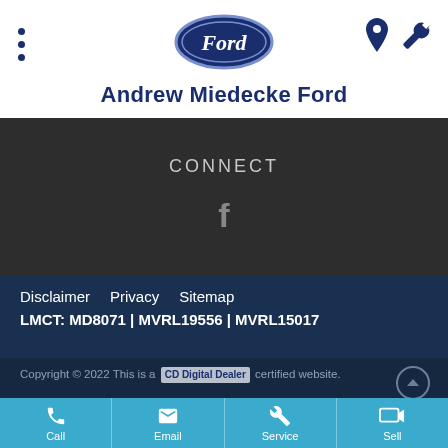[Figure (logo): Ford oval blue logo]
Andrew Miedecke Ford
CONNECT
[Figure (logo): Facebook 'f' icon in gray]
Disclaimer   Privacy   Sitemap
LMCT: MD8071 | MVRL19556 | MVRL15017
Copyright © 2022 This is a Digital Dealer certified website.
Call   Email   Service   Sell